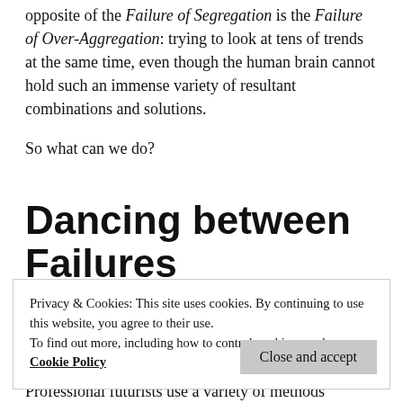opposite of the Failure of Segregation is the Failure of Over-Aggregation: trying to look at tens of trends at the same time, even though the human brain cannot hold such an immense variety of resultant combinations and solutions.
So what can we do?
Dancing between Failures
So the primary problem here is a solution to...
Privacy & Cookies: This site uses cookies. By continuing to use this website, you agree to their use.
To find out more, including how to control cookies, see here: Cookie Policy
Professional futurists use a variety of methods